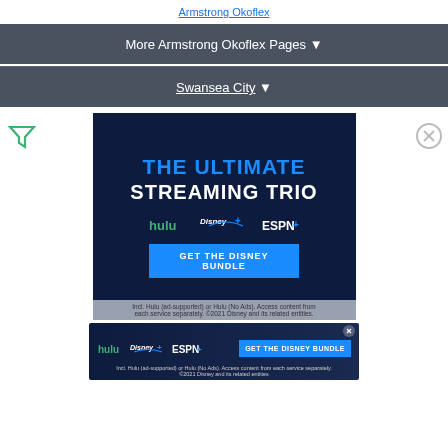Armstrong Okoflex Pages
More Armstrong Okoflex Pages ▼
Swansea City ▼
[Figure (infographic): Disney Bundle advertisement: 'THE ULTIMATE STREAMING TRIO' with Hulu, Disney+, and ESPN+ logos, and a 'GET THE DISNEY BUNDLE' button on dark navy background]
[Figure (infographic): Smaller Disney Bundle banner ad with Hulu, Disney+, ESPN+ logos and GET THE DISNEY BUNDLE button, with disclaimer text]